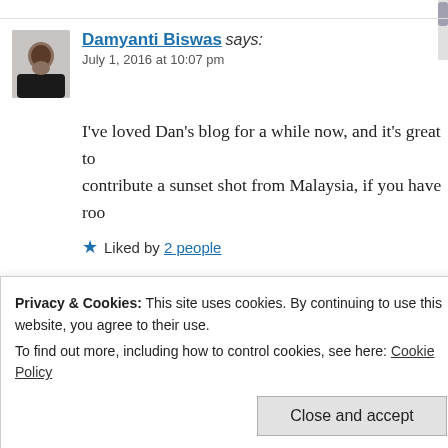[Figure (photo): Avatar photo of Damyanti Biswas, a woman with dark hair]
Damyanti Biswas says:
July 1, 2016 at 10:07 pm
I've loved Dan's blog for a while now, and it's great to contribute a sunset shot from Malaysia, if you have roo
★ Liked by 2 people
Reply
[Figure (photo): Avatar photo of C.E.Robinson, a woman with dark hair]
C.E.Robinson says:
July 1, 2016 at 11:00 pm
Privacy & Cookies: This site uses cookies. By continuing to use this website, you agree to their use.
To find out more, including how to control cookies, see here: Cookie Policy
Close and accept